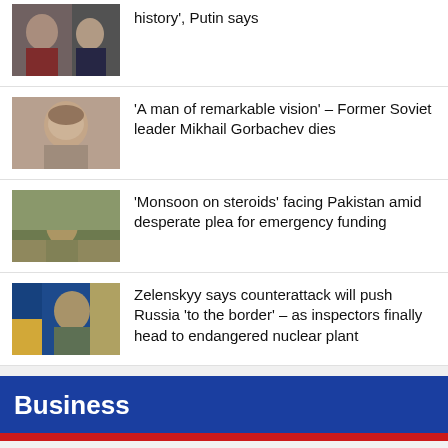history', Putin says
[Figure (photo): Two men, one appearing to be Gorbachev, speaking with Putin]
'A man of remarkable vision' – Former Soviet leader Mikhail Gorbachev dies
[Figure (photo): Portrait of Mikhail Gorbachev speaking]
'Monsoon on steroids' facing Pakistan amid desperate plea for emergency funding
[Figure (photo): Person in flood conditions in Pakistan]
Zelenskyy says counterattack will push Russia 'to the border' – as inspectors finally head to endangered nuclear plant
[Figure (photo): Zelenskyy at podium with Ukrainian flag in background]
Business